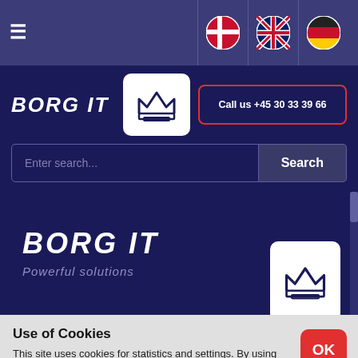[Figure (screenshot): Navigation bar with hamburger menu and flag icons for Denmark, UK, Germany]
[Figure (logo): BORG IT brand name with crown logo and call button showing +45 30 33 39 66]
[Figure (screenshot): Search bar with Enter search... placeholder and Search button]
[Figure (logo): BORG IT hero section with Powerful solutions tagline and crown logo]
Use of Cookies
This site uses cookies for statistics and settings. By using this site you agree to this. Click to read more